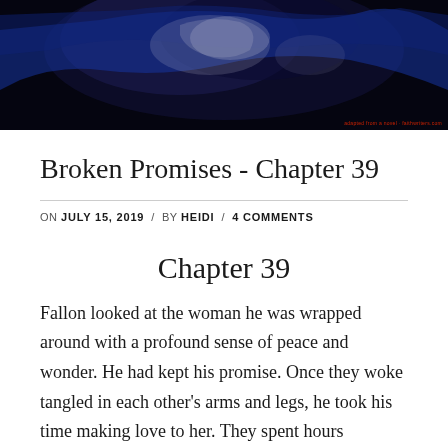[Figure (photo): Dark atmospheric header image with blue and dark tones, appears to show figures or forms in blue/dark lighting. Small red watermark text in bottom right corner reading what appears to be a website URL.]
Broken Promises - Chapter 39
ON JULY 15, 2019 / BY HEIDI / 4 COMMENTS
Chapter 39
Fallon looked at the woman he was wrapped around with a profound sense of peace and wonder. He had kept his promise. Once they woke tangled in each other's arms and legs, he took his time making love to her. They spent hours